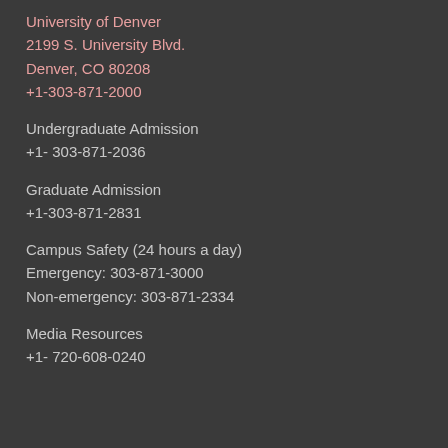University of Denver
2199 S. University Blvd.
Denver, CO 80208
+1-303-871-2000
Undergraduate Admission
+1- 303-871-2036
Graduate Admission
+1-303-871-2831
Campus Safety (24 hours a day)
Emergency: 303-871-3000
Non-emergency: 303-871-2334
Media Resources
+1- 720-608-0240